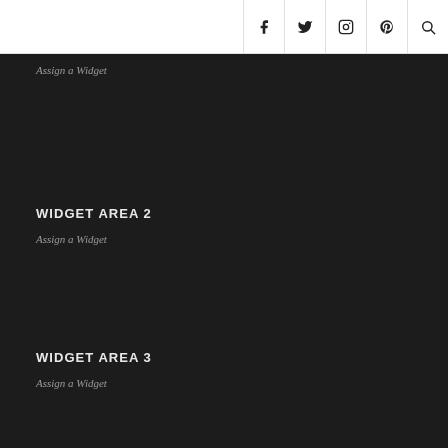[Figure (other): Header bar with social media icons: Facebook, Twitter, Instagram, Pinterest, Search]
Assign a Widget
WIDGET AREA 2
Assign a Widget
WIDGET AREA 3
Assign a Widget